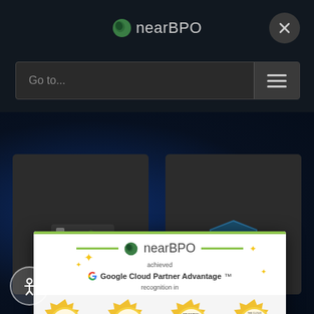nearBPO
[Figure (screenshot): Website navigation with search bar saying 'Go to...' and hamburger menu button on dark background]
[Figure (infographic): nearBPO achieved Google Cloud Partner Advantage recognition in: APIGEE EXPERTISE (in the United States), APIGEE EXPERTISE (in Mexico), FINANCIAL SERVICES EXPERTISE, THE CLOUD NATIVE APPLICATION DEVELOPMENT EXPERTISE. Shown as gold medal/badge icons on a white popup overlay.]